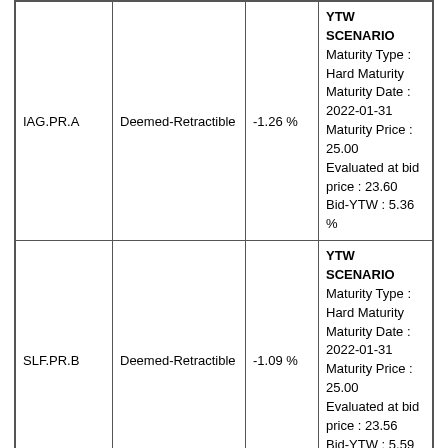| Ticker | Type | Change | YTW Scenario |
| --- | --- | --- | --- |
| IAG.PR.A | Deemed-Retractible | -1.26 % | YTW SCENARIO
Maturity Type : Hard Maturity
Maturity Date : 2022-01-31
Maturity Price : 25.00
Evaluated at bid price : 23.60
Bid-YTW : 5.36 % |
| SLF.PR.B | Deemed-Retractible | -1.09 % | YTW SCENARIO
Maturity Type : Hard Maturity
Maturity Date : 2022-01-31
Maturity Price : 25.00
Evaluated at bid price : 23.56
Bid-YTW : 5.59 % |
| SLF.PR.C | Deemed-Retractible | -1.05 % | YTW SCENARIO
Maturity Type : Hard Maturity
Maturity Date : 2022-01-31
Maturity Price : 25.00
Evaluated at bid price : 22.57
Bid-YTW : 5.78 % |
| IGM.PR.B | Perpetual-Premium | 1.40 % | YTW SCENARIO
Maturity Type : Call
Maturity Date : 2016-12-31
Maturity Price : 25.50
Evaluated at bid price : 26.40
Bid-YTW : 4.85 % |
Volume Highlights